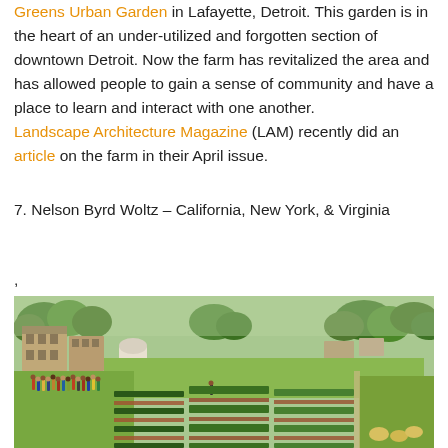Greens Urban Garden in Lafayette, Detroit. This garden is in the heart of an under-utilized and forgotten section of downtown Detroit. Now the farm has revitalized the area and has allowed people to gain a sense of community and have a place to learn and interact with one another. Landscape Architecture Magazine (LAM) recently did an article on the farm in their April issue.
7. Nelson Byrd Woltz – California, New York, & Virginia
[Figure (photo): Aerial/wide view of an urban farm with rows of crops, open green field, group of people standing along the left side, residential buildings in background left, trees surrounding the area.]